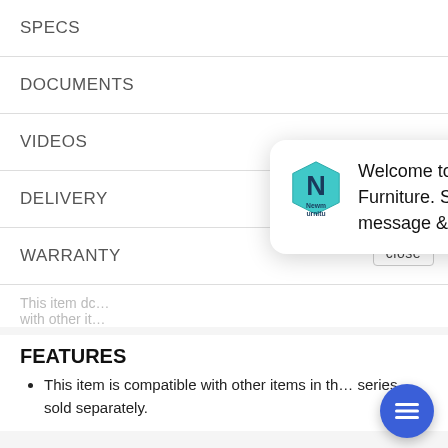SPECS
DOCUMENTS
VIDEOS
DELIVERY
WARRANTY
This item dc... with other it...
[Figure (screenshot): Newman Furniture chat popup with logo and welcome message: 'Welcome to Newman Furniture. Send us a message & we will respond.']
FEATURES
This item is compatible with other items in the series, sold separately.